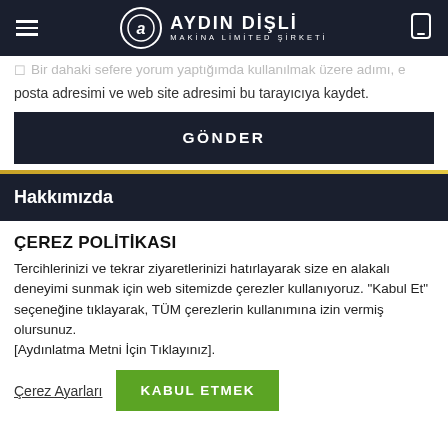AYDIN DİŞLİ MAKİNA LİMİTED ŞİRKETİ
Bir dahaki sefere yorum yaptığımda kullanılmak üzere adımı, e posta adresimi ve web site adresimi bu tarayıcıya kaydet.
GÖNDER
Hakkımızda
ÇEREZ POLİTİKASI
Tercihlerinizi ve tekrar ziyaretlerinizi hatırlayarak size en alakalı deneyimi sunmak için web sitemizde çerezler kullanıyoruz. "Kabul Et" seçeneğine tıklayarak, TÜM çerezlerin kullanımına izin vermiş olursunuz.
[Aydınlatma Metni İçin Tıklayınız].
Çerez Ayarları  KABUL ETMEK